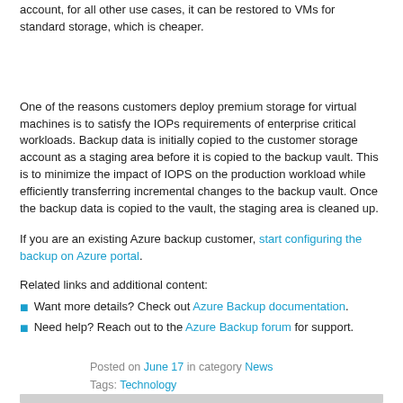account, for all other use cases, it can be restored to VMs for standard storage, which is cheaper.
One of the reasons customers deploy premium storage for virtual machines is to satisfy the IOPs requirements of enterprise critical workloads. Backup data is initially copied to the customer storage account as a staging area before it is copied to the backup vault. This is to minimize the impact of IOPS on the production workload while efficiently transferring incremental changes to the backup vault. Once the backup data is copied to the vault, the staging area is cleaned up.
If you are an existing Azure backup customer, start configuring the backup on Azure portal.
Related links and additional content:
Want more details? Check out Azure Backup documentation.
Need help? Reach out to the Azure Backup forum for support.
Posted on June 17 in category News
Tags: Technology